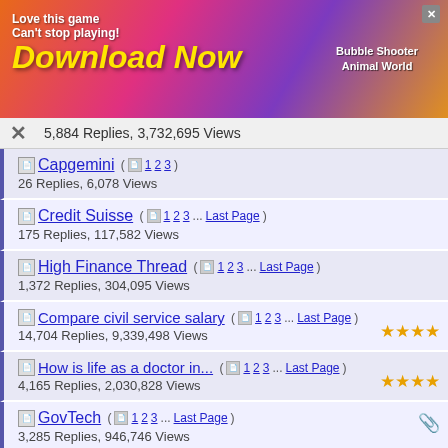[Figure (illustration): Advertisement banner: 'Love this game Can't stop playing! Download Now' with colorful bubble shooter game imagery and 'Bubble Shooter Animal World' text, with a close X button]
5,884 Replies, 3,732,695 Views
Capgemini ( 1 2 3 ) — 26 Replies, 6,078 Views
Credit Suisse ( 1 2 3... Last Page ) — 175 Replies, 117,582 Views
High Finance Thread ( 1 2 3... Last Page ) — 1,372 Replies, 304,095 Views
Compare civil service salary ( 1 2 3... Last Page ) — 14,704 Replies, 9,339,498 Views ★★★★
How is life as a doctor in... ( 1 2 3... Last Page ) — 4,165 Replies, 2,030,828 Views ★★★★
GovTech ( 1 2 3... Last Page ) — 3,285 Replies, 946,746 Views
Working in a bank ( 1 2 3... Last Page )